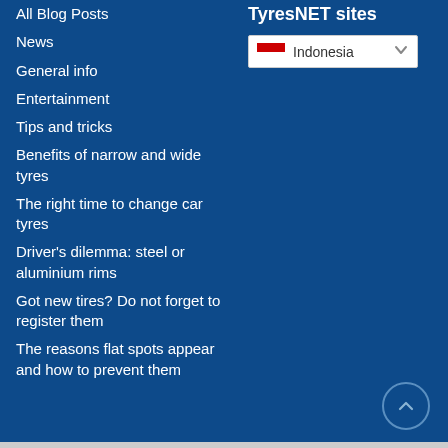All Blog Posts
News
General info
Entertainment
Tips and tricks
Benefits of narrow and wide tyres
The right time to change car tyres
Driver's dilemma: steel or aluminium rims
Got new tires? Do not forget to register them
The reasons flat spots appear and how to prevent them
TyresNET sites
[Figure (screenshot): Indonesia country selector dropdown with Indonesian flag (red and white) and chevron arrow]